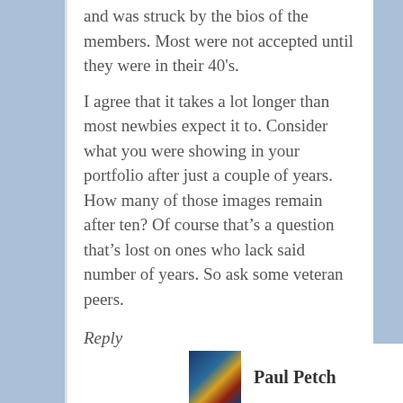and was struck by the bios of the members. Most were not accepted until they were in their 40's.
I agree that it takes a lot longer than most newbies expect it to. Consider what you were showing in your portfolio after just a couple of years. How many of those images remain after ten? Of course that's a question that's lost on ones who lack said number of years. So ask some veteran peers.
Reply
Paul Petch